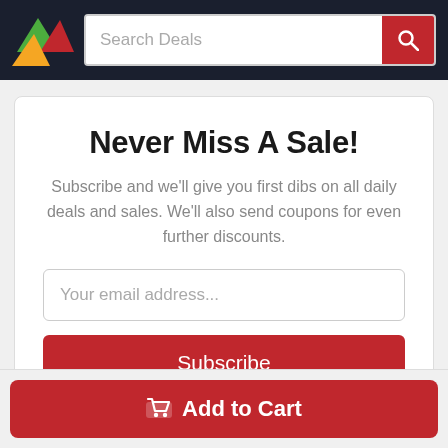[Figure (screenshot): Navigation bar with colorful triangle logo and search deals input with red search button]
Never Miss A Sale!
Subscribe and we'll give you first dibs on all daily deals and sales. We'll also send coupons for even further discounts.
Your email address...
Subscribe
Add to Cart